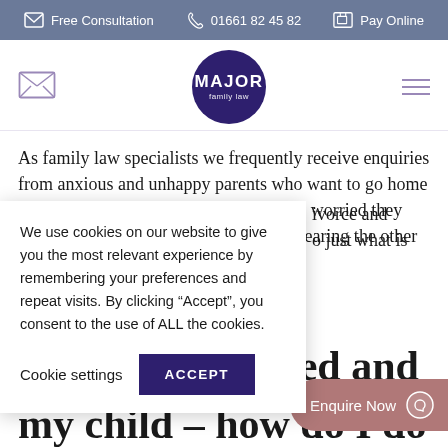Free Consultation   01661 82 45 82   Pay Online
[Figure (logo): Major Family Law circular logo in dark purple with white text]
As family law specialists we frequently receive enquiries from anxious and unhappy parents who want to go home or on to a third country, and from others worried they may lose contact with their child after hearing the other [parent wants to relocate abroad following] divorce and [separation. Below, we explain] just what is [involved in applying to relocate and]
We use cookies on our website to give you the most relevant experience by remembering your preferences and repeat visits. By clicking “Accept”, you consent to the use of ALL the cookies.
Cookie settings   ACCEPT
my child – how do I do so?